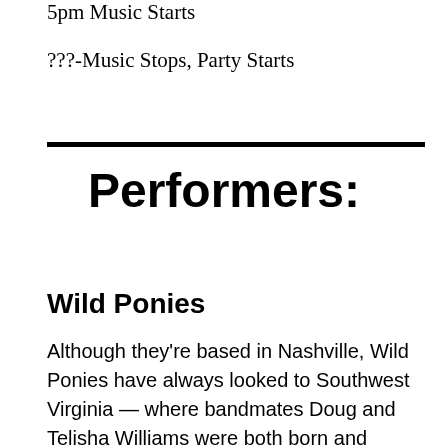5pm Music Starts
???-Music Stops, Party Starts
Performers:
Wild Ponies
Although they're based in Nashville, Wild Ponies have always looked to Southwest Virginia — where bandmates Doug and Telisha Williams were both born and